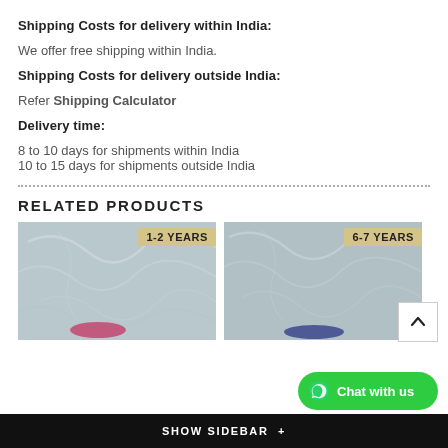Shipping Costs for delivery within India:
We offer free shipping within India.
Shipping Costs for delivery outside India:
Refer Shipping Calculator
Delivery time:
8 to 10 days for shipments within India
10 to 15 days for shipments outside India
RELATED PRODUCTS
[Figure (photo): Product image with badge '1-2 YEARS' in top right corner, showing a marble-like surface texture]
[Figure (photo): Product image with badge '6-7 YEARS' in top right corner, showing a marble-like surface texture]
SHOW SIDEBAR +